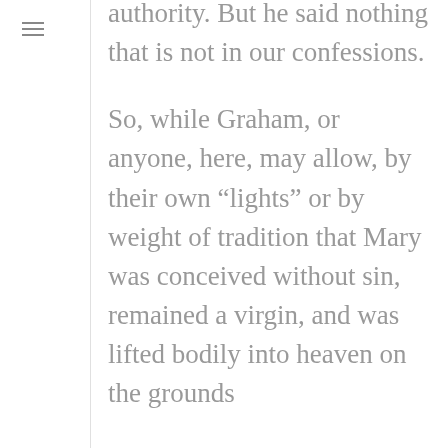authority. But he said nothing that is not in our confessions.
So, while Graham, or anyone, here, may allow, by their own “lights” or by weight of tradition that Mary was conceived without sin, remained a virgin, and was lifted bodily into heaven on the grounds